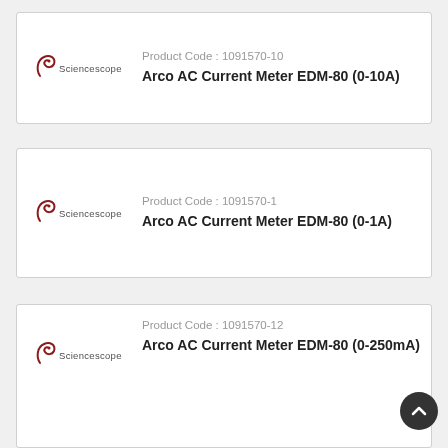[Figure (logo): Sciencescope logo with stylized S and company name]
Product Code : 1091570-10
Arco AC Current Meter EDM-80 (0-10A)
[Figure (logo): Sciencescope logo with stylized S and company name]
Product Code : 1091570-1
Arco AC Current Meter EDM-80 (0-1A)
[Figure (logo): Sciencescope logo with stylized S and company name]
Product Code : 1091570-12
Arco AC Current Meter EDM-80 (0-250mA)